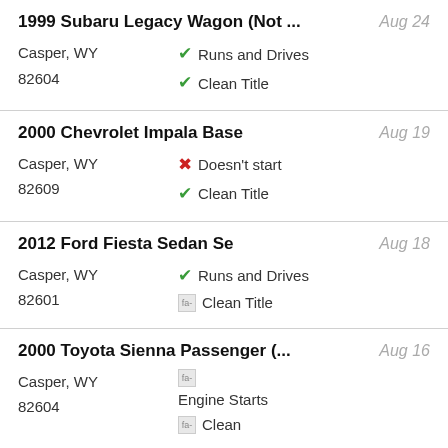1999 Subaru Legacy Wagon (Not ... | Aug 24 | Casper, WY 82604 | Runs and Drives | Clean Title
2000 Chevrolet Impala Base | Aug 19 | Casper, WY 82609 | Doesn't start | Clean Title
2012 Ford Fiesta Sedan Se | Aug 18 | Casper, WY 82601 | Runs and Drives | Clean Title
2000 Toyota Sienna Passenger (... | Aug 16 | Casper, WY 82604 | Engine Starts | Clean Title